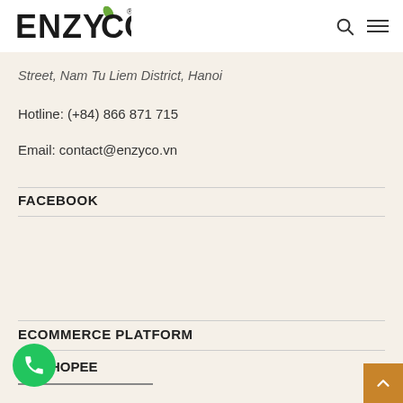ENZYCO [logo with leaf] — search icon, hamburger menu
Street, Nam Tu Liem District, Hanoi
Hotline: (+84) 866 871 715
Email: contact@enzyco.vn
FACEBOOK
ECOMMERCE PLATFORM
SHOPEE